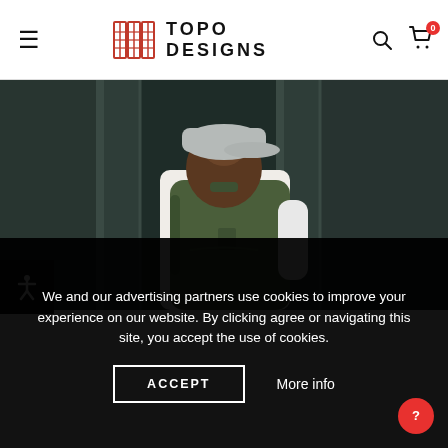TOPO DESIGNS
[Figure (photo): Person from behind wearing a grey baseball cap and green/olive backpack, standing against a dark teal/grey paneled background]
We and our advertising partners use cookies to improve your experience on our website. By clicking agree or navigating this site, you accept the use of cookies.
ACCEPT
More info